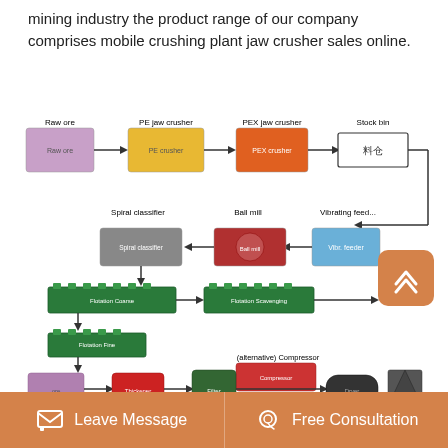mining industry the product range of our company comprises mobile crushing plant jaw crusher sales online.
[Figure (flowchart): Mining/ore processing flowchart showing: Raw ore → PE jaw crusher → PEX jaw crusher → Stock bin, then down through Vibrating feeder → Ball mill → Spiral classifier (with recycle loop), then down to Flotation(Coarse) → Flotation(Scavenging) → Tailings, then down to Flotation(Fine), then down to Damp concentrates → Thickener → Filter (with (alternative) Compressor above Filter) → Dryer → Dry concentrates]
Leave Message   Free Consultation